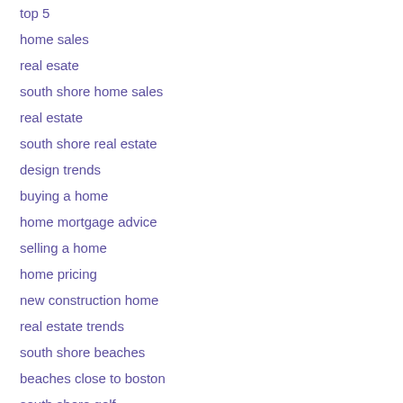top 5
home sales
real esate
south shore home sales
real estate
south shore real estate
design trends
buying a home
home mortgage advice
selling a home
home pricing
new construction home
real estate trends
south shore beaches
beaches close to boston
south shore golf
south shore massachusetts
front door color